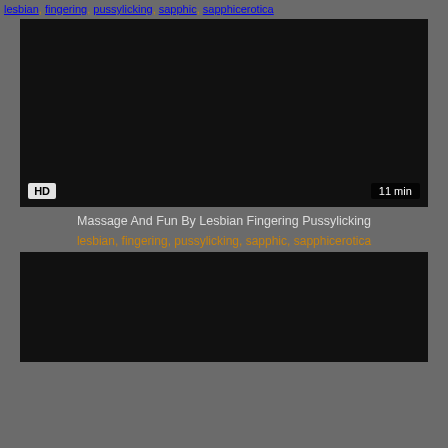lesbian, fingering, pussylicking, sapphic, sapphicerotica
[Figure (photo): Dark video thumbnail for a video titled Massage And Fun By Lesbian Fingering Pussylicking, showing HD badge and 11 min duration]
Massage And Fun By Lesbian Fingering Pussylicking
lesbian, fingering, pussylicking, sapphic, sapphicerotica
[Figure (photo): Dark video thumbnail, second video card, partially visible]